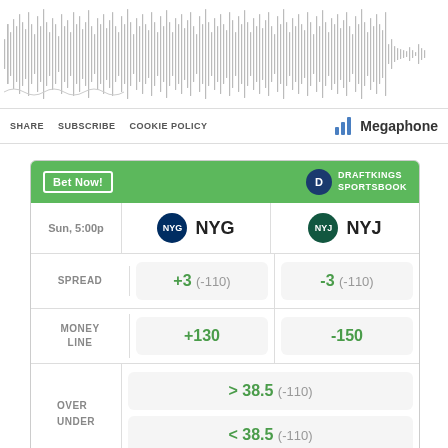[Figure (other): Audio waveform visualization showing dense vertical bars representing a podcast or audio file]
SHARE  SUBSCRIBE  COOKIE POLICY
[Figure (logo): Megaphone podcast platform logo with bar chart icon]
|  | NYG | NYJ |
| --- | --- | --- |
| SPREAD | +3 (-110) | -3 (-110) |
| MONEY LINE | +130 | -150 |
| OVER UNDER | > 38.5 (-110) | < 38.5 (-110) |
Odds/Lines subject to change. See draftkings.com for details.